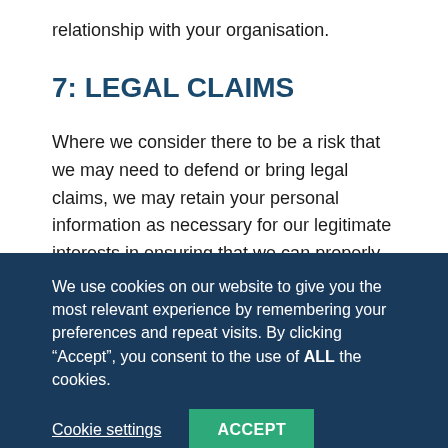relationship with your organisation.
7: LEGAL CLAIMS
Where we consider there to be a risk that we may need to defend or bring legal claims, we may retain your personal information as necessary for our legitimate interests in ensuring that we can properly bring or defend legal claims. We may also need to share this information with our insurers or legal advisers.  How long we keep this information for will
We use cookies on our website to give you the most relevant experience by remembering your preferences and repeat visits. By clicking “Accept”, you consent to the use of ALL the cookies.
Cookie settings
ACCEPT